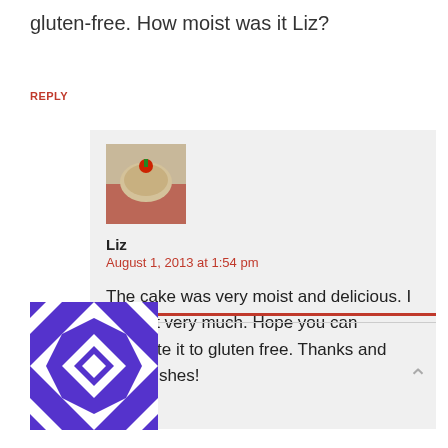gluten-free. How moist was it Liz?
REPLY
[Figure (photo): Small square photo of a food item (cake with cherry on top) used as commenter avatar]
Liz
August 1, 2013 at 1:54 pm
The cake was very moist and delicious. I loved it very much. Hope you can translate it to gluten free. Thanks and best wishes!
REPLY
[Figure (illustration): Blue and white geometric quilt-pattern avatar icon in purple/indigo and white]